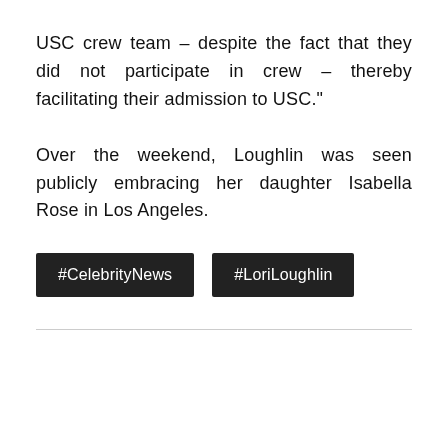USC crew team – despite the fact that they did not participate in crew – thereby facilitating their admission to USC."
Over the weekend, Loughlin was seen publicly embracing her daughter Isabella Rose in Los Angeles.
#CelebrityNews
#LoriLoughlin